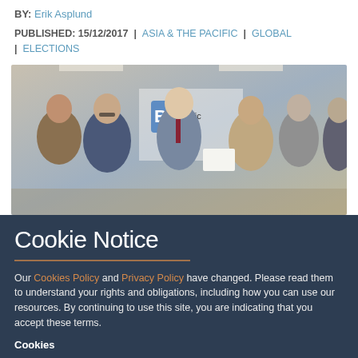BY: Erik Asplund
PUBLISHED: 15/12/2017 | ASIA & THE PACIFIC | GLOBAL | ELECTIONS
[Figure (photo): Group of men standing together in an office or meeting room, with a BRICS-related banner visible in the background. Several men are smiling and one appears to be holding a document.]
Cookie Notice
Our Cookies Policy and Privacy Policy have changed. Please read them to understand your rights and obligations, including how you can use our resources. By continuing to use this site, you are indicating that you accept these terms.
Cookies
We use cookies to enhance your experience on our site. Read about how we use cookies and how you can control them here. By continuing to use this site, without changing your settings, you are indicating that you